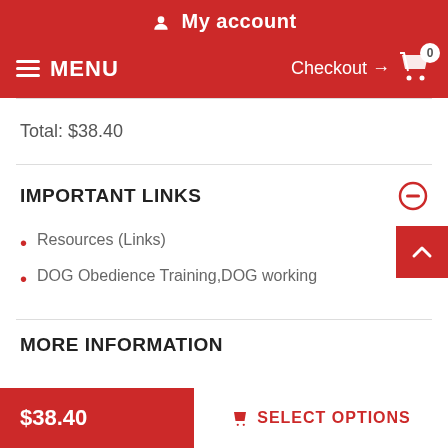My account
MENU  Checkout → 0
Total: $38.40
IMPORTANT LINKS
Resources (Links)
DOG Obedience Training,DOG working
MORE INFORMATION
$38.40  SELECT OPTIONS